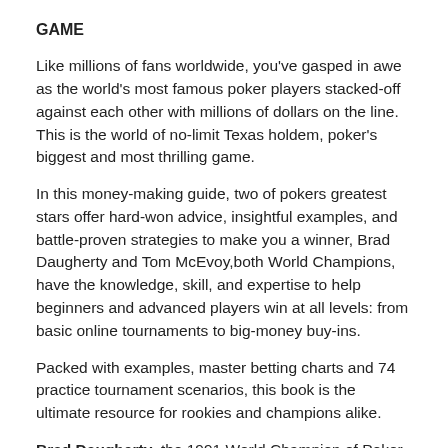GAME
Like millions of fans worldwide, you've gasped in awe as the world's most famous poker players stacked-off against each other with millions of dollars on the line. This is the world of no-limit Texas holdem, poker's biggest and most thrilling game.
In this money-making guide, two of pokers greatest stars offer hard-won advice, insightful examples, and battle-proven strategies to make you a winner, Brad Daugherty and Tom McEvoy,both World Champions, have the knowledge, skill, and expertise to help beginners and advanced players win at all levels: from basic online tournaments to big-money buy-ins.
Packed with examples, master betting charts and 74 practice tournament scenarios, this book is the ultimate resource for rookies and champions alike.
Brad Daugherty, the 1991 World Champion of Poker, was the first player in WSOP history to win $1 million. He has won countless, tournaments and is one of the most feared poker players today.